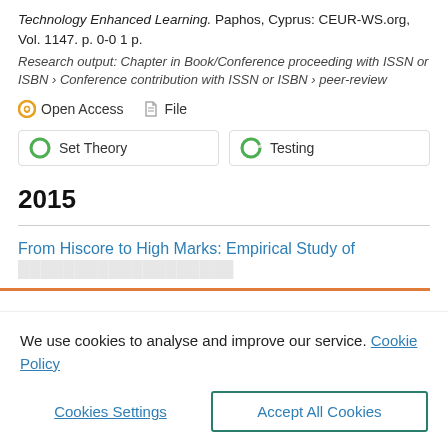Technology Enhanced Learning. Paphos, Cyprus: CEUR-WS.org, Vol. 1147. p. 0-0 1 p.
Research output: Chapter in Book/Conference proceeding with ISSN or ISBN › Conference contribution with ISSN or ISBN › peer-review
Open Access   File
Set Theory
Testing
2015
From Hiscore to High Marks: Empirical Study of
We use cookies to analyse and improve our service. Cookie Policy
Cookies Settings
Accept All Cookies